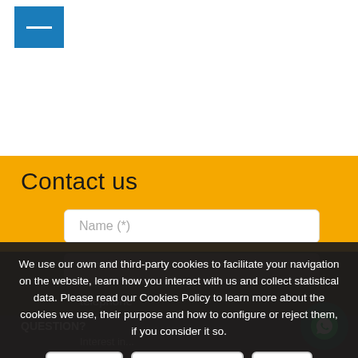[Figure (other): Blue menu/hamburger button in top-left corner with a white minus/dash icon]
Contact us
Name (*)
We use our own and third-party cookies to facilitate your navigation on the website, learn how you interact with us and collect statistical data. Please read our Cookies Policy to learn more about the cookies we use, their purpose and how to configure or reject them, if you consider it so.
Accept all
Manage Cookies
Reject